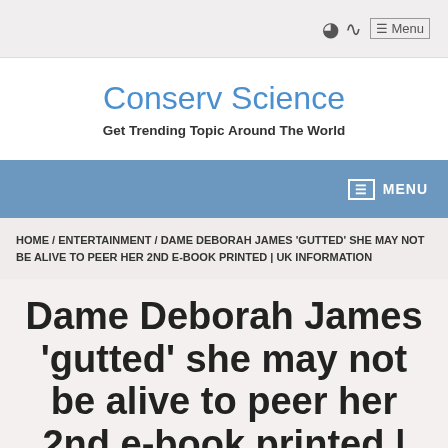RSS  Menu
Conserv Science
Get Trending Topic Around The World
MENU
HOME / ENTERTAINMENT / DAME DEBORAH JAMES 'GUTTED' SHE MAY NOT BE ALIVE TO PEER HER 2ND E-BOOK PRINTED | UK INFORMATION
Dame Deborah James 'gutted' she may not be alive to peer her 2nd e-book printed | UK Information